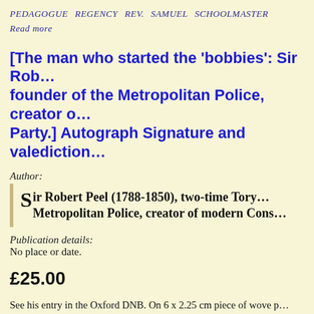PEDAGOGUE   REGENCY   REV.   SAMUEL   SCHOOLMASTER
Read more
[The man who started the 'bobbies': Sir Rob... founder of the Metropolitan Police, creator o... Party.] Autograph Signature and valediction...
Author:
Sir Robert Peel (1788-1850), two-time Tory... Metropolitan Police, creator of modern Cons...
Publication details:
No place or date.
£25.00
See his entry in the Oxford DNB. On 6 x 2.25 cm piece of wove p... letter. Reads: 'Ever most truly yours / Robert Peel'. On the revers... the letter: '<...> to take any <...> / for my intery <...>'. See image...